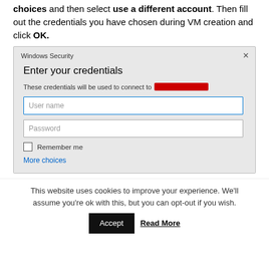choices and then select Use a different account. Then fill out the credentials you have chosen during VM creation and click OK.
[Figure (screenshot): Windows Security dialog box showing 'Enter your credentials' with a redacted hostname, User name input field (highlighted in blue), Password input field, Remember me checkbox, and More choices link at the bottom. All on a light gray background.]
This website uses cookies to improve your experience. We'll assume you're ok with this, but you can opt-out if you wish.
Accept   Read More